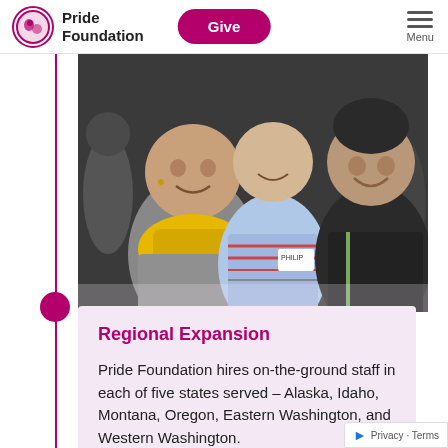Pride Foundation | Give | Menu
[Figure (photo): Three smiling people posing together at an event; one wearing a yellow floral scarf, one in a striped blue shirt with a name tag, one in a dark jacket]
Regional Expansion
Pride Foundation hires on-the-ground staff in each of five states served – Alaska, Idaho, Montana, Oregon, Eastern Washington, and Western Washington.